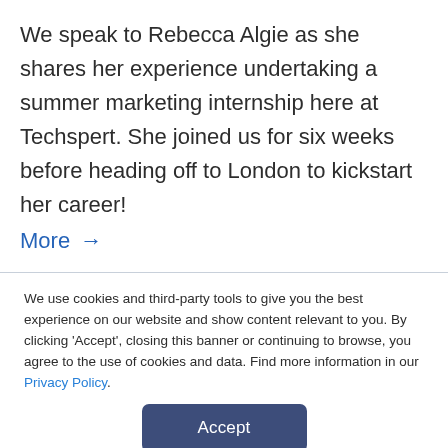We speak to Rebecca Algie as she shares her experience undertaking a summer marketing internship here at Techspert. She joined us for six weeks before heading off to London to kickstart her career!
More →
We use cookies and third-party tools to give you the best experience on our website and show content relevant to you. By clicking 'Accept', closing this banner or continuing to browse, you agree to the use of cookies and data. Find more information in our Privacy Policy.
Accept